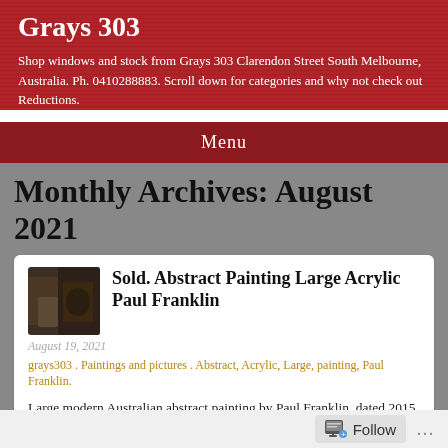Grays 303
Shop windows and stock from Grays 303 Clarendon Street South Melbourne, Australia. Ph. 0410288883. Scroll down for categories and why not check out Reductions.
Menu
Monthly Archives: August 2021
Sold. Abstract Painting Large Acrylic Paul Franklin
August 19, 2021
grays303 . Paintings and pictures . Abstract, Acrylic, Large, painting, Paul Franklin.
Large modern Australian abstract painting by Paul Franklin, dated 2015 and with certificate. Measurements are 60 cm by 160 cm and 4 centimetres deep.
[Figure (photo): Thumbnail of an abstract painting showing dark colors]
[Figure (photo): Bottom strip showing a large abstract painting with blue, green and white colors]
Follow